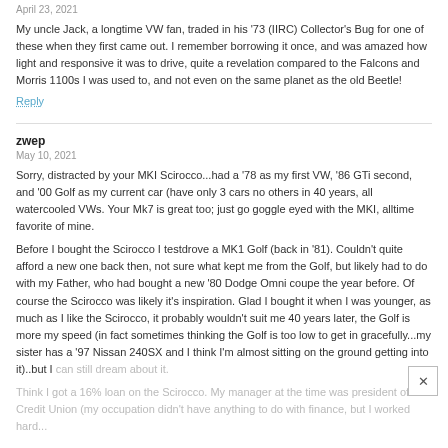April 23, 2021
My uncle Jack, a longtime VW fan, traded in his '73 (IIRC) Collector's Bug for one of these when they first came out. I remember borrowing it once, and was amazed how light and responsive it was to drive, quite a revelation compared to the Falcons and Morris 1100s I was used to, and not even on the same planet as the old Beetle!
Reply
zwep
May 10, 2021
Sorry, distracted by your MKI Scirocco...had a '78 as my first VW, '86 GTi second, and '00 Golf as my current car (have only 3 cars no others in 40 years, all watercooled VWs. Your Mk7 is great too; just go goggle eyed with the MKI, alltime favorite of mine.
Before I bought the Scirocco I testdrove a MK1 Golf (back in '81). Couldn't quite afford a new one back then, not sure what kept me from the Golf, but likely had to do with my Father, who had bought a new '80 Dodge Omni coupe the year before. Of course the Scirocco was likely it's inspiration. Glad I bought it when I was younger, as much as I like the Scirocco, it probably wouldn't suit me 40 years later, the Golf is more my speed (in fact sometimes thinking the Golf is too low to get in gracefully...my sister has a '97 Nissan 240SX and I think I'm almost sitting on the ground getting into it)..but I can still dream about it.
Think I got a 16% loan on the Scirocco. My manager at the time was president of the Credit Union (my occupation didn't have anything to do with finance, but I worked hard...